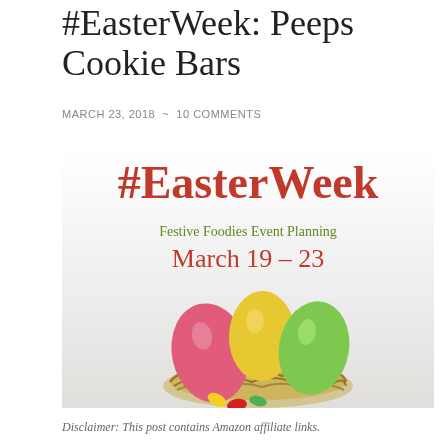#EasterWeek: Peeps Cookie Bars
MARCH 23, 2018  ~  10 COMMENTS
[Figure (illustration): Promotional banner for #EasterWeek Festive Foodies Event Planning, March 19-23, featuring colorful Easter eggs (pink, yellow, green) in a nest with jelly beans scattered in front, on a white/grey background. Text: #EasterWeek in red, Festive Foodies Event Planning in green, March 19 - 23 in red.]
Disclaimer: This post contains Amazon affiliate links.